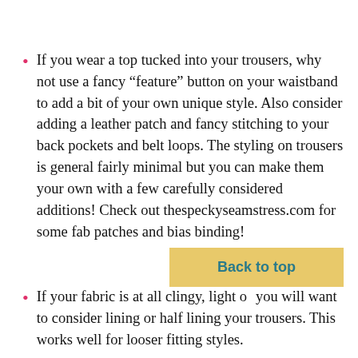If you wear a top tucked into your trousers, why not use a fancy “feature” button on your waistband to add a bit of your own unique style. Also consider adding a leather patch and fancy stitching to your back pockets and belt loops. The styling on trousers is general fairly minimal but you can make them your own with a few carefully considered additions! Check out thespeckyseamstress.com for some fab patches and bias binding!
If your fabric is at all clingy, light or you will want to consider lining or half lining your trousers. This works well for looser fitting styles.